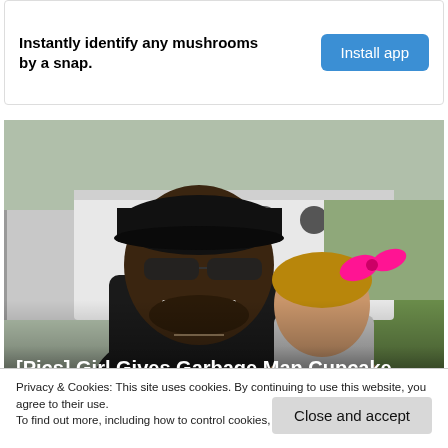Instantly identify any mushrooms by a snap.
Install app
[Figure (photo): A man wearing sunglasses and a black cap smiling next to a young girl with a pink bow in her hair, outdoors near a vehicle]
[Pics] Girl Gives Garbage Man Cupcake Every Week Until Dad Follows Him An...
Privacy & Cookies: This site uses cookies. By continuing to use this website, you agree to their use.
To find out more, including how to control cookies, see here: Cookie Policy
Close and accept